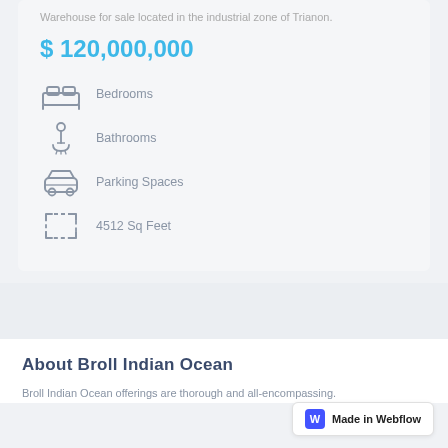Warehouse for sale located in the industrial zone of Trianon.
$120,000,000
Bedrooms
Bathrooms
Parking Spaces
4512 Sq Feet
About Broll Indian Ocean
Broll Indian Ocean offerings are thorough and all-encompassing.